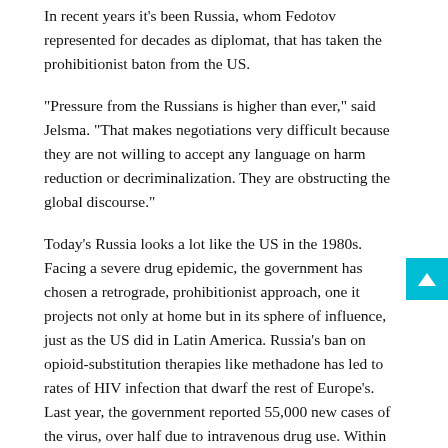In recent years it's been Russia, whom Fedotov represented for decades as diplomat, that has taken the prohibitionist baton from the US.
"Pressure from the Russians is higher than ever," said Jelsma. "That makes negotiations very difficult because they are not willing to accept any language on harm reduction or decriminalization. They are obstructing the global discourse."
Today's Russia looks a lot like the US in the 1980s. Facing a severe drug epidemic, the government has chosen a retrograde, prohibitionist approach, one it projects not only at home but in its sphere of influence, just as the US did in Latin America. Russia's ban on opioid-substitution therapies like methadone has led to rates of HIV infection that dwarf the rest of Europe's. Last year, the government reported 55,000 new cases of the virus, over half due to intravenous drug use. Within days of annexing Crimea, even before basic services had been restored, authorities announced methadone clinics would be shut there. One UN study found that